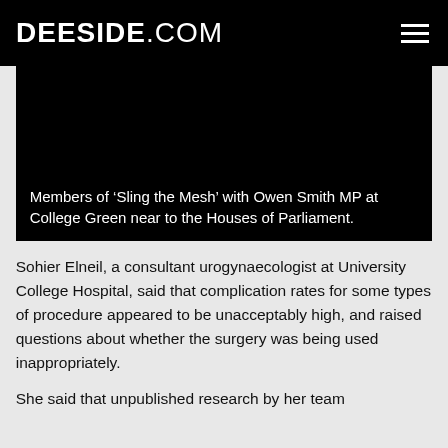DEESIDE.COM
[Figure (photo): Dark image area showing members of 'Sling the Mesh' with Owen Smith MP at College Green near to the Houses of Parliament.]
Members of ‘Sling the Mesh’ with Owen Smith MP at College Green near to the Houses of Parliament.
Sohier Elneil, a consultant urogynaecologist at University College Hospital, said that complication rates for some types of procedure appeared to be unacceptably high, and raised questions about whether the surgery was being used inappropriately.
She said that unpublished research by her team